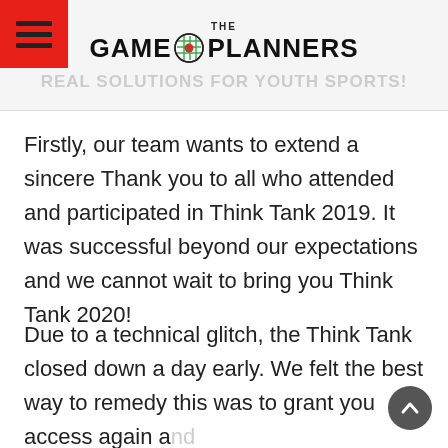THE GAME PLANNERS | Real SOLUTIONS for Youth Sports!
Firstly, our team wants to extend a sincere Thank you to all who attended and participated in Think Tank 2019. It was successful beyond our expectations and we cannot wait to bring you Think Tank 2020!
Due to a technical glitch, the Think Tank closed down a day early. We felt the best way to remedy this was to grant you access again and